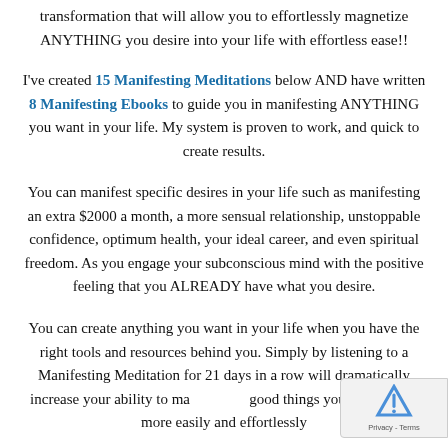transformation that will allow you to effortlessly magnetize ANYTHING you desire into your life with effortless ease!!
I've created 15 Manifesting Meditations below AND have written 8 Manifesting Ebooks to guide you in manifesting ANYTHING you want in your life. My system is proven to work, and quick to create results.
You can manifest specific desires in your life such as manifesting an extra $2000 a month, a more sensual relationship, unstoppable confidence, optimum health, your ideal career, and even spiritual freedom. As you engage your subconscious mind with the positive feeling that you ALREADY have what you desire.
You can create anything you want in your life when you have the right tools and resources behind you. Simply by listening to a Manifesting Meditation for 21 days in a row will dramatically increase your ability to manifest the good things you want in life more easily and effortlessly...